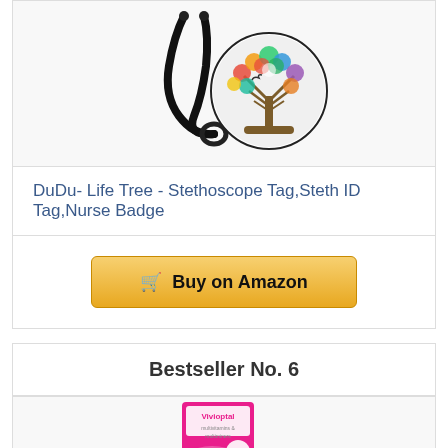[Figure (photo): Stethoscope with colorful life tree circular tag/charm attached]
DuDu- Life Tree - Stethoscope Tag,Steth ID Tag,Nurse Badge
Buy on Amazon
Bestseller No. 6
[Figure (photo): Vivioptal Women multivitamin supplement box, pink colored packaging]